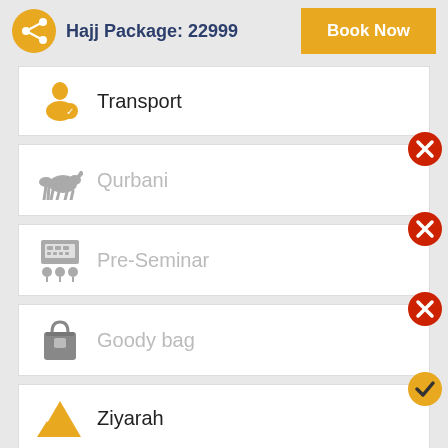Hajj Package: 22999  Book Now
Transport
Qurbani
Pre-Seminar
Goody bag
Ziyarah